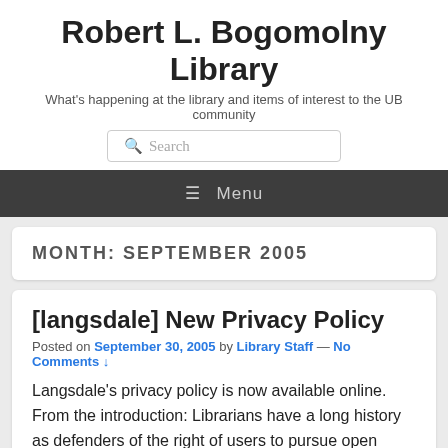Robert L. Bogomolny Library
What's happening at the library and items of interest to the UB community
MONTH: SEPTEMBER 2005
[langsdale] New Privacy Policy
Posted on September 30, 2005 by Library Staff — No Comments ↓
Langsdale's privacy policy is now available online. From the introduction: Librarians have a long history as defenders of the right of users to pursue open inquiry free of scrutiny. The American Library Association's Code of Ethics (1995) states, "We